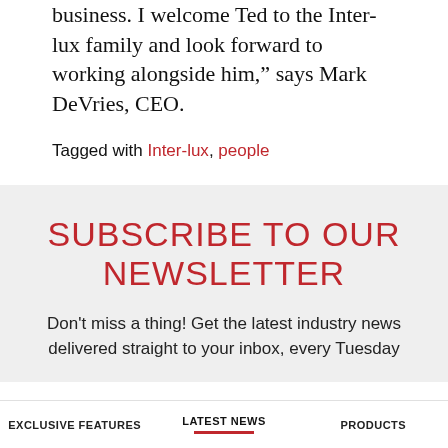business. I welcome Ted to the Inter-lux family and look forward to working alongside him,” says Mark DeVries, CEO.
Tagged with Inter-lux, people
SUBSCRIBE TO OUR NEWSLETTER
Don't miss a thing! Get the latest industry news delivered straight to your inbox, every Tuesday
EXCLUSIVE FEATURES  LATEST NEWS  PRODUCTS